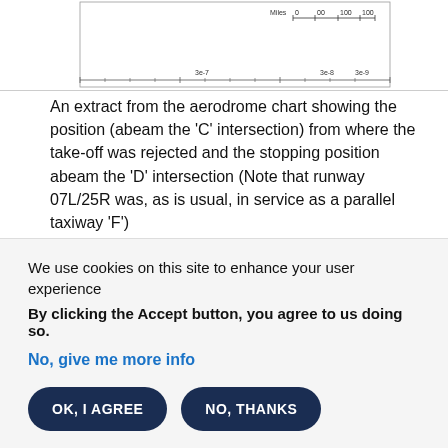[Figure (other): Partial view of an aerodrome chart showing scale bar with Miles 0, 00, 100, 100 and row labels 3e-7, 3e-8, 3e-9]
An extract from the aerodrome chart showing the position (abeam the 'C' intersection) from where the take-off was rejected and the stopping position abeam the 'D' intersection (Note that runway 07L/25R was, as is usual, in service as a parallel taxiway 'F')
Since both the bird scaring vehicle and the 767 were in possession of valid runway access and use clearances, albeit conflicting ones, the
We use cookies on this site to enhance your user experience
By clicking the Accept button, you agree to us doing so.
No, give me more info